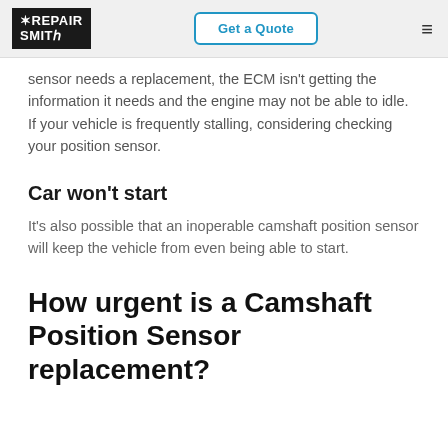RepairSmith | Get a Quote
sensor needs a replacement, the ECM isn't getting the information it needs and the engine may not be able to idle. If your vehicle is frequently stalling, considering checking your position sensor.
Car won't start
It's also possible that an inoperable camshaft position sensor will keep the vehicle from even being able to start.
How urgent is a Camshaft Position Sensor replacement?